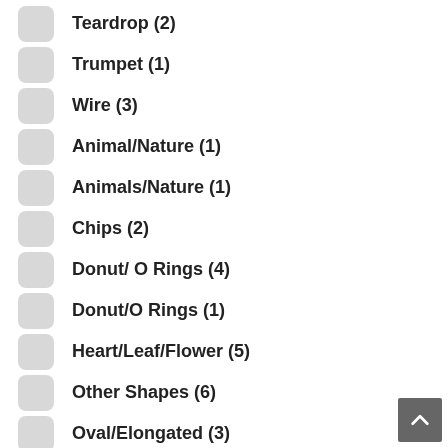Teardrop (2)
Trumpet (1)
Wire (3)
Animal/Nature (1)
Animals/Nature (1)
Chips (2)
Donut/ O Rings (4)
Donut/O Rings (1)
Heart/Leaf/Flower (5)
Other Shapes (6)
Oval/Elongated (3)